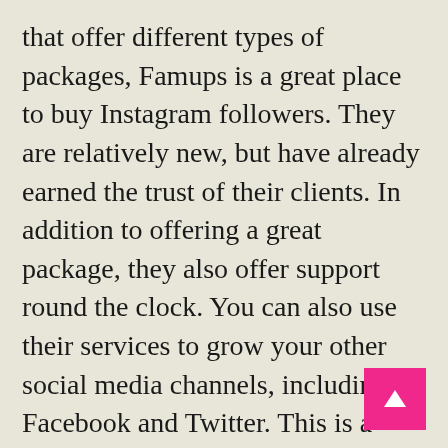that offer different types of packages, Famups is a great place to buy Instagram followers. They are relatively new, but have already earned the trust of their clients. In addition to offering a great package, they also offer support round the clock. You can also use their services to grow your other social media channels, including Facebook and Twitter. This is a great option for those on a budget.
[Figure (other): Pink square button with a white upward-pointing arrow, used as a scroll-to-top button]